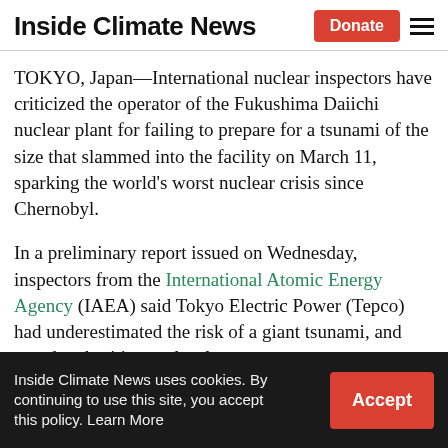Inside Climate News
TOKYO, Japan—International nuclear inspectors have criticized the operator of the Fukushima Daiichi nuclear plant for failing to prepare for a tsunami of the size that slammed into the facility on March 11, sparking the world's worst nuclear crisis since Chernobyl.
In a preliminary report issued on Wednesday, inspectors from the International Atomic Energy Agency (IAEA) said Tokyo Electric Power (Tepco) had underestimated the risk of a giant tsunami, and urged authorities to closely
Inside Climate News uses cookies. By continuing to use this site, you accept this policy. Learn More